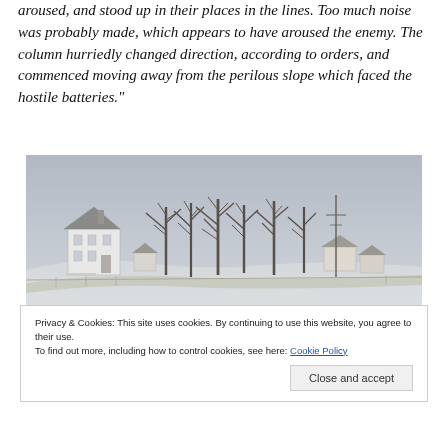aroused, and stood up in their places in the lines. Too much noise was probably made, which appears to have aroused the enemy. The column hurriedly changed direction, according to orders, and commenced moving away from the perilous slope which faced the hostile batteries."
[Figure (photo): A wide panoramic winter photograph showing a farmstead with a large white two-story house on the left, bare leafless trees in the middle, and smaller outbuildings on the right, against an overcast grey sky with snow on the ground.]
Privacy & Cookies: This site uses cookies. By continuing to use this website, you agree to their use.
To find out more, including how to control cookies, see here: Cookie Policy
Close and accept